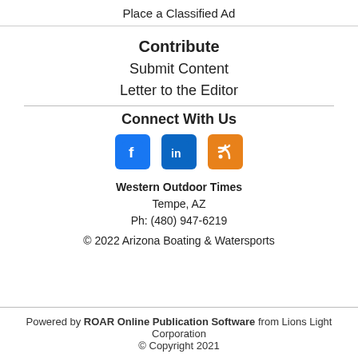Place a Classified Ad
Contribute
Submit Content
Letter to the Editor
Connect With Us
[Figure (other): Social media icons: Facebook, LinkedIn, RSS feed]
Western Outdoor Times
Tempe, AZ
Ph: (480) 947-6219
© 2022 Arizona Boating & Watersports
Powered by ROAR Online Publication Software from Lions Light Corporation
© Copyright 2021